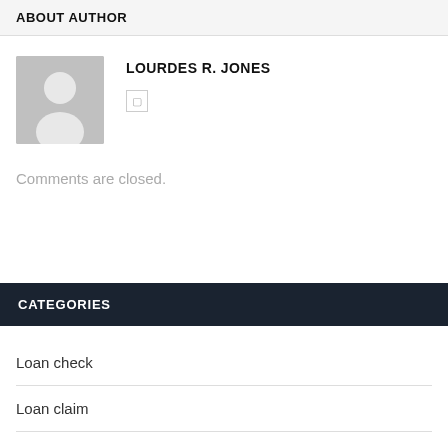ABOUT AUTHOR
[Figure (illustration): Default user avatar silhouette on grey background]
LOURDES R. JONES
Comments are closed.
CATEGORIES
Loan check
Loan claim
Loan money